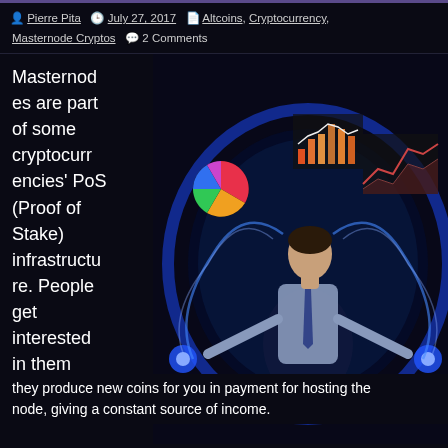Pierre Pita   July 27, 2017   Altcoins, Cryptocurrency, Masternode Cryptos   2 Comments
Masternodes are part of some cryptocurrencies' PoS (Proof of Stake) infrastructure. People get interested in them because
[Figure (photo): A woman in business attire meditating in lotus position, surrounded by a glowing blue circular aura with financial charts, bar graphs, pie charts and line graphs floating around her on a dark background.]
they produce new coins for you in payment for hosting the node, giving a constant source of income.